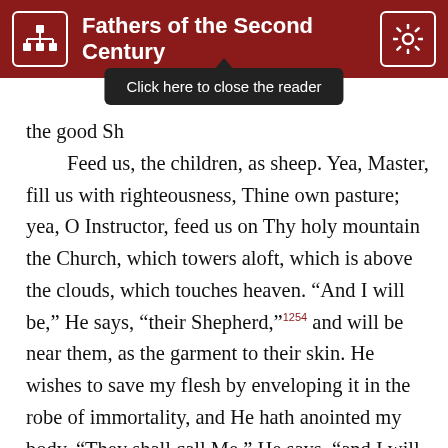Fathers of the Second Century
[Figure (screenshot): Tooltip overlay reading 'Click here to close the reader']
the good Sh... Feed us, the children, as sheep. Yea, Master, fill us with righteousness, Thine own pasture; yea, O Instructor, feed us on Thy holy mountain the Church, which towers aloft, which is above the clouds, which touches heaven. “And I will be,” He says, “their Shepherd,”¹²⁵⁴ and will be near them, as the garment to their skin. He wishes to save my flesh by enveloping it in the robe of immortality, and He hath anointed my body. “They shall call Me,” He says, “and I will say, Here am I.”¹²⁵⁵ Thou didst hear sooner than I expected, Master. “And if they pass over, they shall not slip.”¹²⁵⁶ saith the